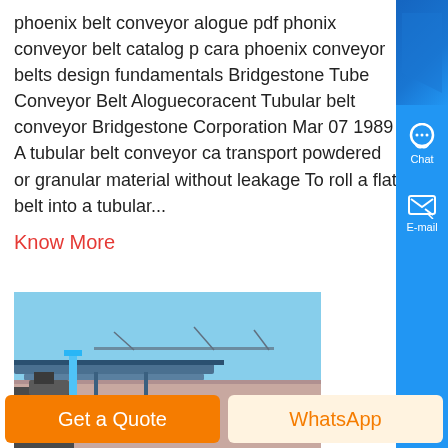phoenix belt conveyor alogue pdf phonix conveyor belt catalog p cara phoenix conveyor belts design fundamentals Bridgestone Tube Conveyor Belt Aloguecoracent Tubular belt conveyor Bridgestone Corporation Mar 07 1989 A tubular belt conveyor ca transport powdered or granular material without leakage To roll a flat belt into a tubular...
Know More
[Figure (photo): Industrial conveyor belt system at a port or industrial facility, showing belt conveyor structure over water with blue sky background]
phoenix conveyor belt catalog pdf rb crusher mill
Get a Quote
WhatsApp